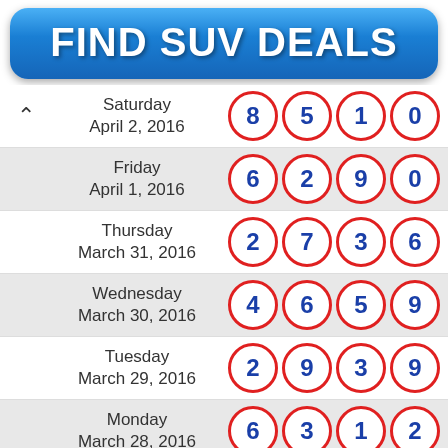[Figure (infographic): Blue gradient button/banner with white bold text reading FIND SUV DEALS]
| Date | Numbers |
| --- | --- |
| Saturday April 2, 2016 | 8 5 1 0 |
| Friday April 1, 2016 | 6 2 9 0 |
| Thursday March 31, 2016 | 2 7 3 6 |
| Wednesday March 30, 2016 | 4 6 5 9 |
| Tuesday March 29, 2016 | 2 9 3 9 |
| Monday March 28, 2016 | 6 3 1 2 |